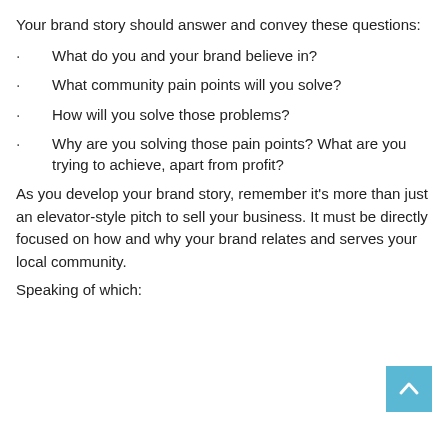Your brand story should answer and convey these questions:
What do you and your brand believe in?
What community pain points will you solve?
How will you solve those problems?
Why are you solving those pain points? What are you trying to achieve, apart from profit?
As you develop your brand story, remember it's more than just an elevator-style pitch to sell your business. It must be directly focused on how and why your brand relates and serves your local community.
Speaking of which: